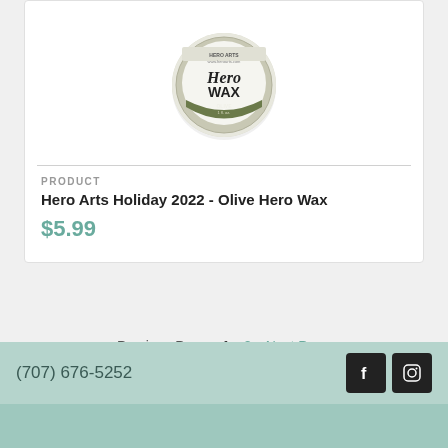[Figure (photo): Circular tin of Hero Arts Olive Hero Wax product with olive green label]
PRODUCT
Hero Arts Holiday 2022 - Olive Hero Wax
$5.99
< Previous Page   1  2  Next Page >
(707) 676-5252